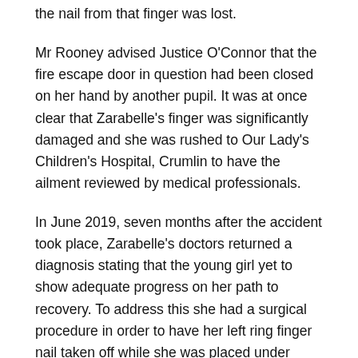the nail from that finger was lost.
Mr Rooney advised Justice O'Connor that the fire escape door in question had been closed on her hand by another pupil. It was at once clear that Zarabelle's finger was significantly damaged and she was rushed to Our Lady's Children's Hospital, Crumlin to have the ailment reviewed by medical professionals.
In June 2019, seven months after the accident took place, Zarabelle's doctors returned a diagnosis stating that the young girl yet to show adequate progress on her path to recovery. To address this she had a surgical procedure in order to have her left ring finger nail taken off while she was placed under general anaesthetic. According to Mr Rooney, following this surgical procedure Zarabelle developed a viral infection and had to receive medical attention which involved a course of antibiotic medication. The Judge was told that the young girl has now made a complete recovery.